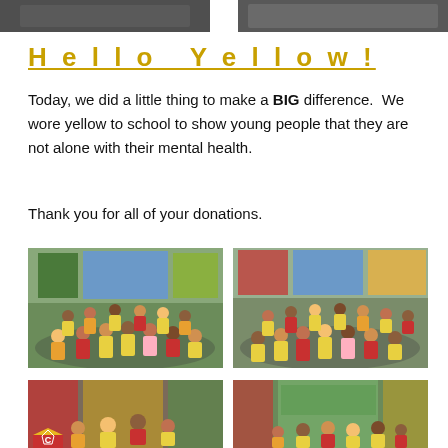[Figure (photo): Two photos of school children at the top of the page, partially cropped]
Hello Yellow!
Today, we did a little thing to make a BIG difference. We wore yellow to school to show young people that they are not alone with their mental health.
Thank you for all of your donations.
[Figure (photo): Classroom photo showing children sitting on the floor wearing yellow, red and other coloured tops]
[Figure (photo): Classroom photo showing children sitting on the floor wearing yellow tops in a colourful classroom]
[Figure (photo): Classroom photo showing children sitting on the floor, partially visible at bottom of page]
[Figure (photo): Classroom photo showing children in a colourful classroom, partially visible at bottom of page]